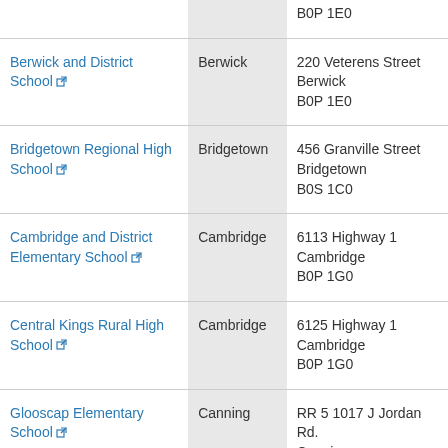| School | Municipality | Address |
| --- | --- | --- |
|  |  | B0P 1E0 |
| Berwick and District School | Berwick | 220 Veterens Street
Berwick
B0P 1E0 |
| Bridgetown Regional High School | Bridgetown | 456 Granville Street
Bridgetown
B0S 1C0 |
| Cambridge and District Elementary School | Cambridge | 6113 Highway 1
Cambridge
B0P 1G0 |
| Central Kings Rural High School | Cambridge | 6125 Highway 1
Cambridge
B0P 1G0 |
| Glooscap Elementary School | Canning | RR 5 1017 J Jordan Rd.
Canning
B0P 1H0 |